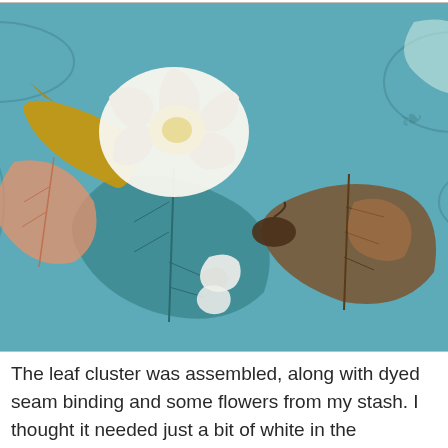[Figure (photo): Close-up photograph of a decorative leaf cluster craft arrangement featuring teal/blue botanical leaf prints, a large white flower, golden/amber dyed seam binding ribbon, brown textured leaves with copper metallic sheen, and a small white embossed lace appliqué piece, all arranged on a blue-painted background with botanical stamp impressions.]
The leaf cluster was assembled, along with dyed seam binding and some flowers from my stash. I thought it needed just a bit of white in the arrangement, and I found the embossed and crackled Laurel Impresslit I had rejected from